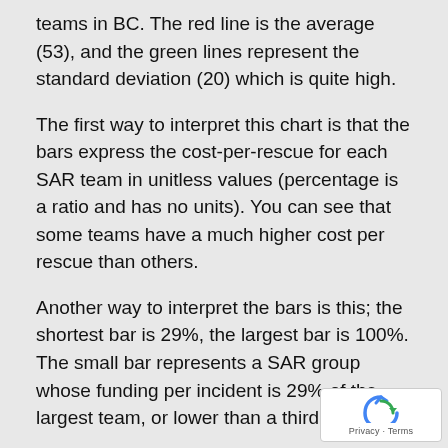teams in BC. The red line is the average (53), and the green lines represent the standard deviation (20) which is quite high.
The first way to interpret this chart is that the bars express the cost-per-rescue for each SAR team in unitless values (percentage is a ratio and has no units). You can see that some teams have a much higher cost per rescue than others.
Another way to interpret the bars is this; the shortest bar is 29%, the largest bar is 100%. The small bar represents a SAR group whose funding per incident is 29% of the largest team, or lower than a third.
The disparity is unsettling to me.